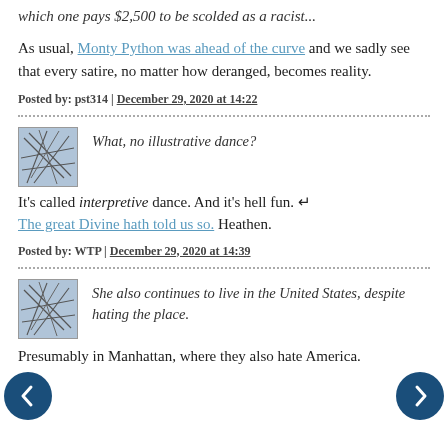which one pays $2,500 to be scolded as a racist...
As usual, Monty Python was ahead of the curve and we sadly see that every satire, no matter how deranged, becomes reality.
Posted by: pst314 | December 29, 2020 at 14:22
What, no illustrative dance?
It's called interpretive dance. And it's hell fun. ↵ The great Divine hath told us so. Heathen.
Posted by: WTP | December 29, 2020 at 14:39
She also continues to live in the United States, despite hating the place.
Presumably in Manhattan, where they also hate America.